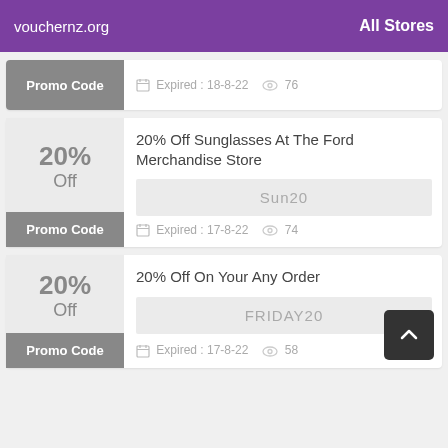vouchernz.org   All Stores
Promo Code   Expired : 18-8-22   76
20% Off Sunglasses At The Ford Merchandise Store
Sun20
Expired : 17-8-22   74
20% Off On Your Any Order
FRIDAY20
Expired : 17-8-22   58